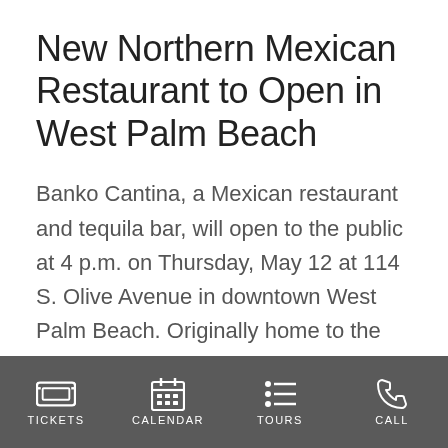New Northern Mexican Restaurant to Open in West Palm Beach
Banko Cantina, a Mexican restaurant and tequila bar, will open to the public at 4 p.m. on Thursday, May 12 at 114 S. Olive Avenue in downtown West Palm Beach. Originally home to the American National Bank, this 1921 landmark building was added to the U.S. National Register of Historic Places in
TICKETS  CALENDAR  TOURS  CALL